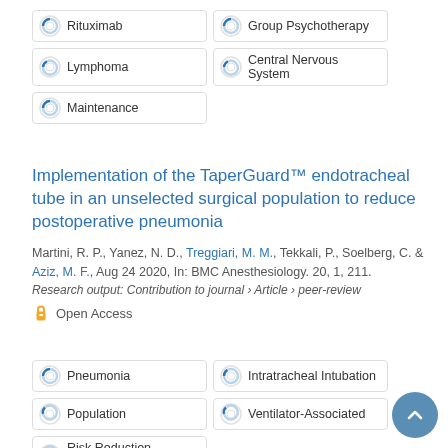Rituximab
Group Psychotherapy
Lymphoma
Central Nervous System
Maintenance
Implementation of the TaperGuard™ endotracheal tube in an unselected surgical population to reduce postoperative pneumonia
Martini, R. P., Yanez, N. D., Treggiari, M. M., Tekkali, P., Soelberg, C. & Aziz, M. F., Aug 24 2020, In: BMC Anesthesiology. 20, 1, 211.
Research output: Contribution to journal › Article › peer-review
Open Access
Pneumonia
Intratracheal Intubation
Population
Ventilator-Associated
Risk Reduction Behavior